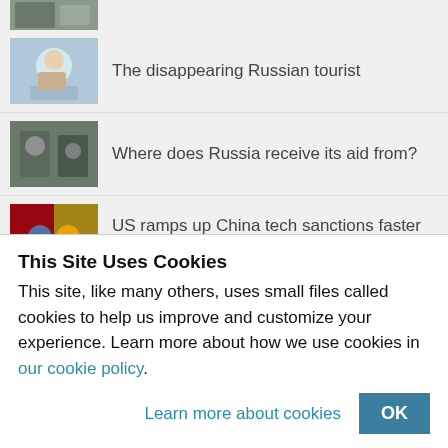[Figure (photo): Partially visible news thumbnail at top, cropped]
The disappearing Russian tourist
Where does Russia receive its aid from?
US ramps up China tech sanctions faster than expected
China waiving African debt isn't about refinancing
Did the West 'bring war' to Ukraine?
This Site Uses Cookies
This site, like many others, uses small files called cookies to help us improve and customize your experience. Learn more about how we use cookies in our cookie policy.
Learn more about cookies    OK